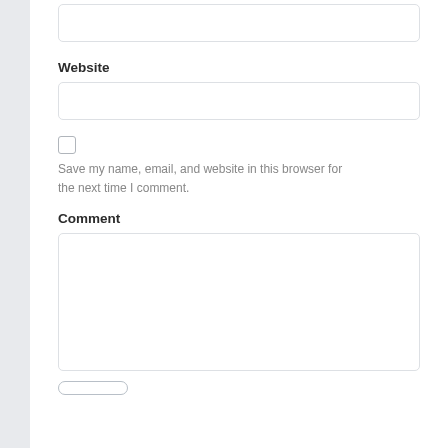[Figure (screenshot): Empty text input field for a form (top, no label visible)]
Website
[Figure (screenshot): Empty text input field for Website]
[Figure (screenshot): Unchecked checkbox]
Save my name, email, and website in this browser for the next time I comment.
Comment
[Figure (screenshot): Large empty textarea for Comment input]
[Figure (screenshot): Submit button (partial, bottom of page)]